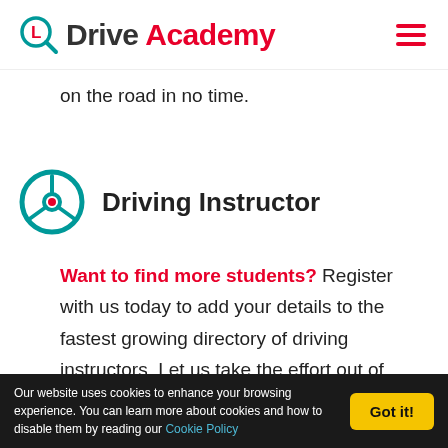Drive Academy
on the road in no time.
[Figure (logo): Steering wheel icon in teal with red center dot]
Driving Instructor
Want to find more students? Register with us today to add your details to the fastest growing directory of driving instructors. Let us take the effort out of finding students, leaving you with more time to teach and reducing your costs at the same time.
Our website uses cookies to enhance your browsing experience. You can learn more about cookies and how to disable them by reading our Cookie Policy